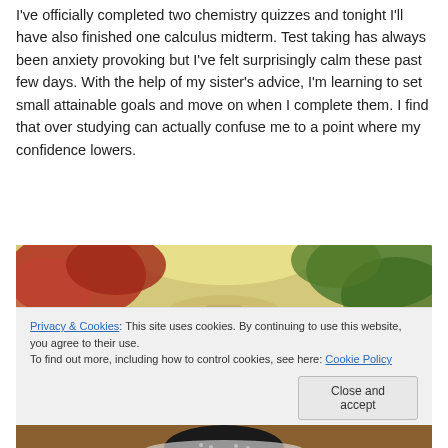I've officially completed two chemistry quizzes and tonight I'll have also finished one calculus midterm. Test taking has always been anxiety provoking but I've felt surprisingly calm these past few days. With the help of my sister's advice, I'm learning to set small attainable goals and move on when I complete them. I find that over studying can actually confuse me to a point where my confidence lowers.
[Figure (photo): Outdoor photo showing autumn trees with red and green foliage and a bright sky]
Privacy & Cookies: This site uses cookies. By continuing to use this website, you agree to their use.
To find out more, including how to control cookies, see here: Cookie Policy
[Figure (photo): Partial bottom photo showing a person with dark hair]